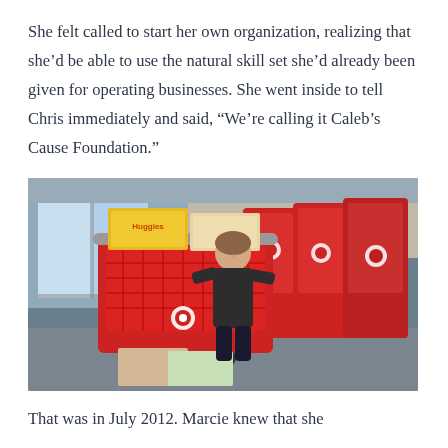She felt called to start her own organization, realizing that she'd be able to use the natural skill set she'd already been given for operating businesses. She went inside to tell Chris immediately and said, “We’re calling it Caleb’s Cause Foundation.”
[Figure (photo): A child pushing a red Target shopping cart loaded with boxes of diapers and baby supplies inside a Target store. More red Target shopping carts are visible in the background.]
That was in July 2012. Marcie knew that she